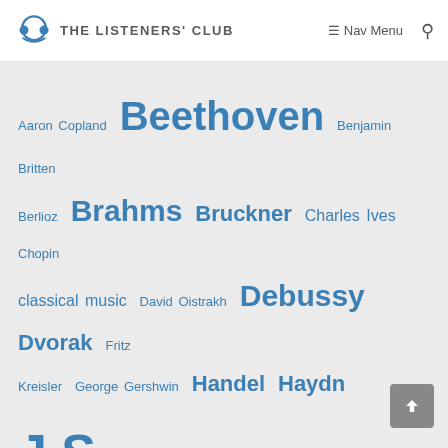THE LISTENERS' CLUB  Nav Menu
[Figure (other): Tag cloud of classical music composers and topics including Beethoven, Brahms, J.S. Bach, Mozart, Ravel, Mahler, Debussy, Dvorak, etc. in varying font sizes indicating popularity.]
Scroll to top button